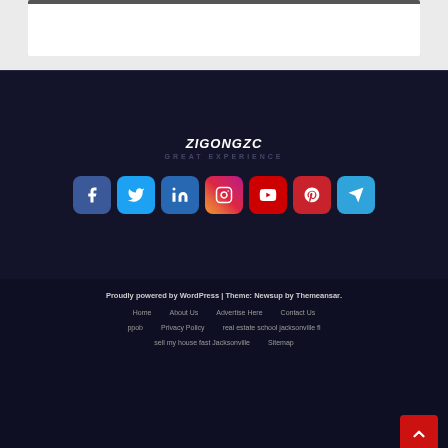[Figure (screenshot): Top white card area on light gray background]
[Figure (logo): ZIGONGZC logo with tagline GREAT EXPERIENCE]
[Figure (infographic): Social media icons: Facebook, Twitter, LinkedIn, Instagram, YouTube, Pinterest, Telegram]
Proudly powered by WordPress | Theme: Newsup by Themeansar.
Home   About Us   Advertise Here   Contact Us
ppob   Privacy Policy   real estate school jacksonville fl
sell my house fast Jacksonville   Sitemap